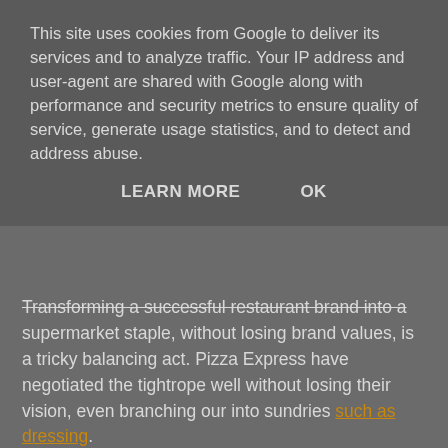This site uses cookies from Google to deliver its services and to analyze traffic. Your IP address and user-agent are shared with Google along with performance and security metrics to ensure quality of service, generate usage statistics, and to detect and address abuse.
LEARN MORE   OK
Transforming a successful restaurant brand into a supermarket staple, without losing brand values, is a tricky balancing act. Pizza Express have negotiated the tightrope well without losing their vision, even branching our into sundries such as dressing.
Rather surprisingly, Pizza Express feature in the "top ten most working class brands" as reported in a recent study by research/strategy agency Britainthinks which looked into the differences between a self-defined middle class and working class.
Interestingly, according to Britainthinks, 71% of Britons consider themselves middle class, although according to the National Readership Survey, 55% of the population would be